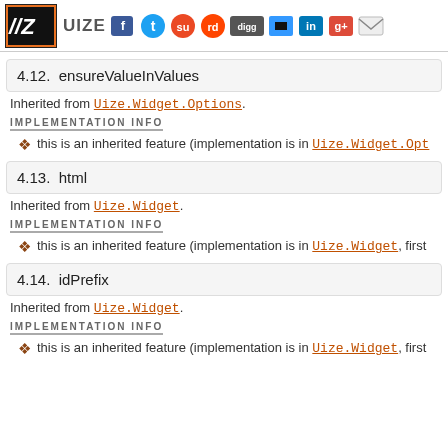UIZE JavaScript Framework - social sharing header
4.12. ensureValueInValues
Inherited from Uize.Widget.Options.
IMPLEMENTATION INFO
this is an inherited feature (implementation is in Uize.Widget.Opt…
4.13. html
Inherited from Uize.Widget.
IMPLEMENTATION INFO
this is an inherited feature (implementation is in Uize.Widget, first…
4.14. idPrefix
Inherited from Uize.Widget.
IMPLEMENTATION INFO
this is an inherited feature (implementation is in Uize.Widget, first…